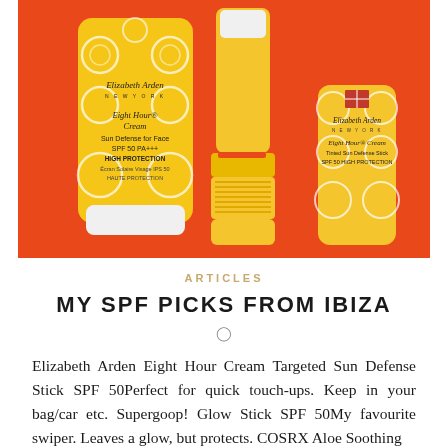[Figure (photo): Elizabeth Arden Eight Hour Cream Sun Defense products on orange background: a yellow tube (Sun Defense for Face SPF 50 PA+++ HIGH PROTECTION), a yellow stick sunscreen, and a small yellow stick (Tinted Sun Defense Stick SPF 50 HIGH PROTECTION). All products shown against a vivid orange/red background.]
ARTICLES
MY SPF PICKS FROM IBIZA
Elizabeth Arden Eight Hour Cream Targeted Sun Defense Stick SPF 50Perfect for quick touch-ups. Keep in your bag/car etc. Supergoop! Glow Stick SPF 50My favourite swiper. Leaves a glow, but protects. COSRX Aloe Soothing